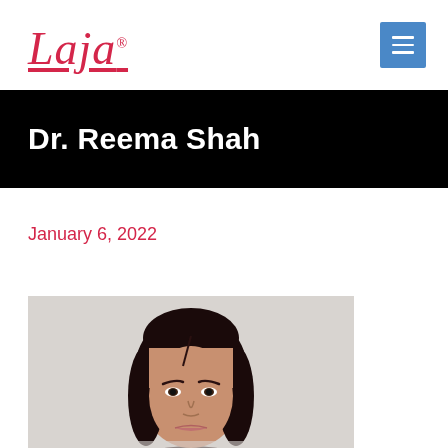Laja
Dr. Reema Shah
January 6, 2022
[Figure (photo): Portrait photo of Dr. Reema Shah, a woman with long dark hair, against a light grey background, cropped at chin level]